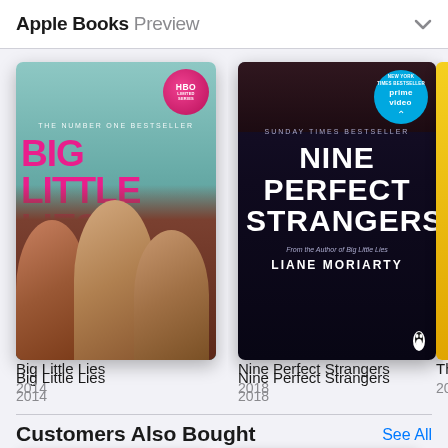Apple Books Preview
[Figure (illustration): Book cover: Big Little Lies by Liane Moriarty, 2014. Pink title text on teal background with three women's faces. HBO Limited Series badge in pink circle top right.]
Big Little Lies
2014
[Figure (illustration): Book cover: Nine Perfect Strangers by Liane Moriarty, 2018. White title text on dark background. Amazon Prime Video badge in blue circle top right. Sunday Times Bestseller text.]
Nine Perfect Strangers
2018
Th
201
Customers Also Bought
See All